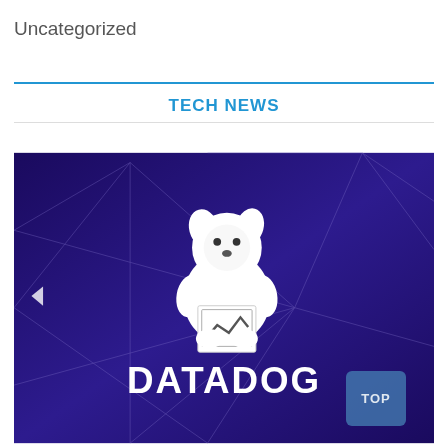Uncategorized
TECH NEWS
[Figure (logo): Datadog logo on a dark purple geometric background with triangular line patterns. White dog mascot holding a chart icon above white DATADOG text. A 'TOP' button appears in the bottom right corner.]